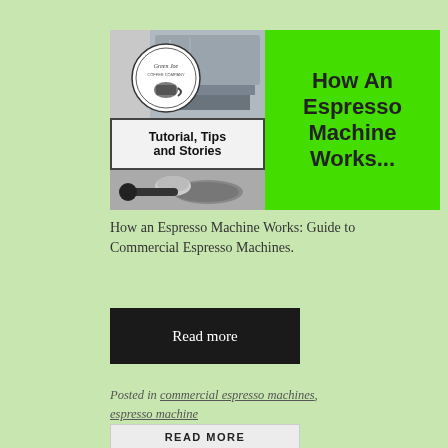[Figure (photo): Blog post thumbnail banner split into two halves. Left side shows the Green Joe coffee company logo (circular emblem) on a grey/silver background with an espresso machine portafilter below and a 'Tutorial, Tips and Stories' bordered text box. Right side is bright green with bold black text reading 'How An Espresso Machine Works...']
How an Espresso Machine Works: Guide to Commercial Espresso Machines.
Read more
Posted in commercial espresso machines, espresso machine
READ MORE